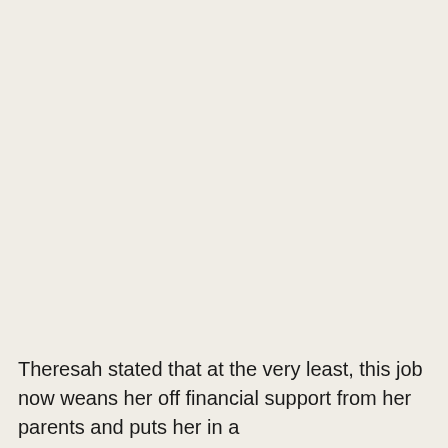Theresah stated that at the very least, this job now weans her off financial support from her parents and puts her in a